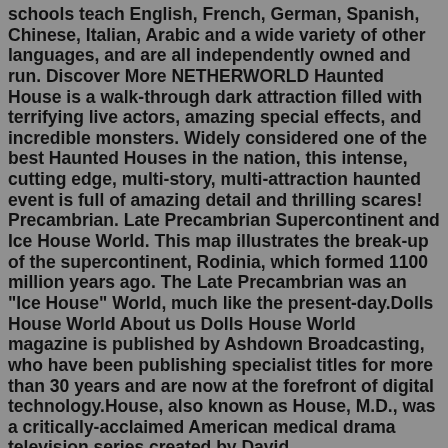schools teach English, French, German, Spanish, Chinese, Italian, Arabic and a wide variety of other languages, and are all independently owned and run. Discover More NETHERWORLD Haunted House is a walk-through dark attraction filled with terrifying live actors, amazing special effects, and incredible monsters. Widely considered one of the best Haunted Houses in the nation, this intense, cutting edge, multi-story, multi-attraction haunted event is full of amazing detail and thrilling scares! Precambrian. Late Precambrian Supercontinent and Ice House World. This map illustrates the break-up of the supercontinent, Rodinia, which formed 1100 million years ago. The Late Precambrian was an "Ice House" World, much like the present-day.Dolls House World About us Dolls House World magazine is published by Ashdown Broadcasting, who have been publishing specialist titles for more than 30 years and are now at the forefront of digital technology.House, also known as House, M.D., was a critically-acclaimed American medical drama television series created by David